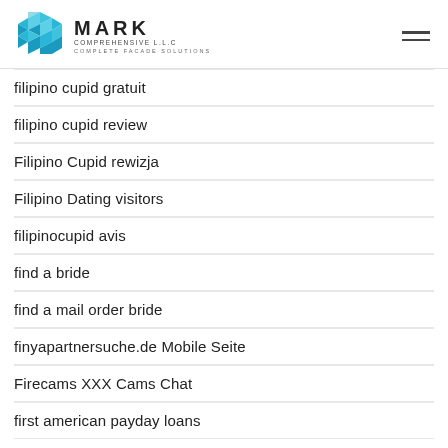MARK COMPREHENSIVE L.L.C — COMPLETE FACADE SOLUTIONS
filipino cupid gratuit
filipino cupid review
Filipino Cupid rewizja
Filipino Dating visitors
filipinocupid avis
find a bride
find a mail order bride
finyapartnersuche.de Mobile Seite
Firecams XXX Cams Chat
first american payday loans